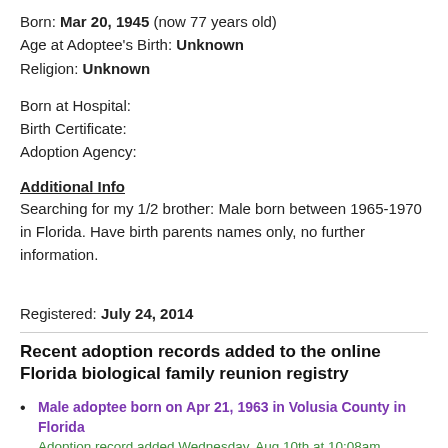Born: Mar 20, 1945 (now 77 years old)
Age at Adoptee's Birth: Unknown
Religion: Unknown
Born at Hospital:
Birth Certificate:
Adoption Agency:
Additional Info
Searching for my 1/2 brother: Male born between 1965-1970 in Florida. Have birth parents names only, no further information.
Registered: July 24, 2014
Recent adoption records added to the online Florida biological family reunion registry
Male adoptee born on Apr 21, 1963 in Volusia County in Florida
Adoption record added Wednesday, Aug 10th at 10:08am